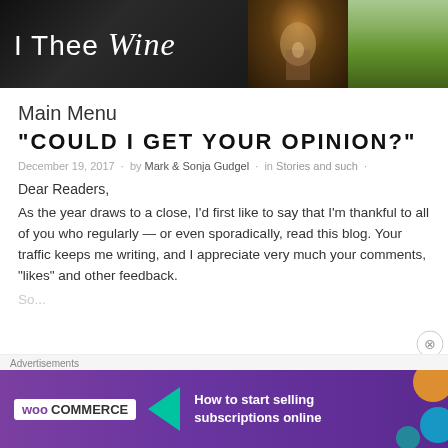[Figure (photo): I Thee Wine blog header banner with logo text on dark background, a couple in the middle panel, and a couple in a vineyard on the right panel]
Main Menu
“COULD I GET YOUR OPINION?”
December 19, 2017 · by Mark & Sonja Gudgel · in Stories and such ·
Dear Readers,
As the year draws to a close, I’d first like to say that I’m thankful to all of you who regularly — or even sporadically, read this blog. Your traffic keeps me writing, and I appreciate very much your comments, “likes” and other feedback.
Advertisements
[Figure (screenshot): WooCommerce advertisement banner: How to start selling subscriptions online]